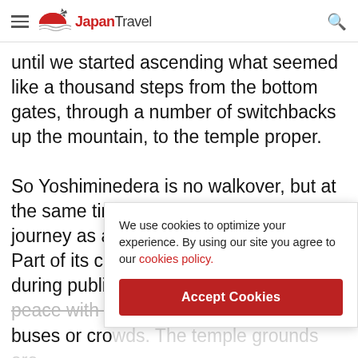Japan Travel
until we started ascending what seemed like a thousand steps from the bottom gates, through a number of switchbacks up the mountain, to the temple proper.

So Yoshiminedera is no walkover, but at the same time, it is worth making the journey as a half day trip from Kyoto. Part of its charm is its remoteness. Even during public holidays it is a haven of peace with no tour buses or cro... very inviting, various trails wonderland Maybe this is around with no awareness of Japanese history, it is
We use cookies to optimize your experience. By using our site you agree to our cookies policy.
Accept Cookies